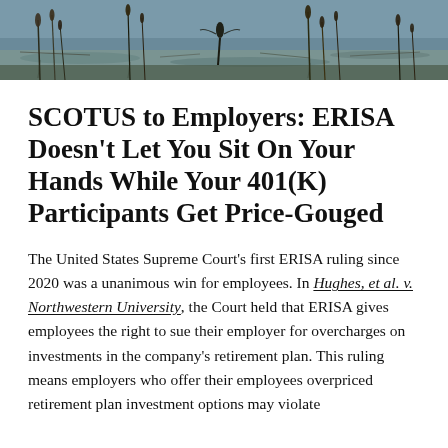[Figure (photo): A nature photograph showing a water scene with reeds, plants, and reflections in shallow water, with a bird silhouette visible.]
SCOTUS to Employers: ERISA Doesn't Let You Sit On Your Hands While Your 401(K) Participants Get Price-Gouged
The United States Supreme Court's first ERISA ruling since 2020 was a unanimous win for employees. In Hughes, et al. v. Northwestern University, the Court held that ERISA gives employees the right to sue their employer for overcharges on investments in the company's retirement plan. This ruling means employers who offer their employees overpriced retirement plan investment options may violate